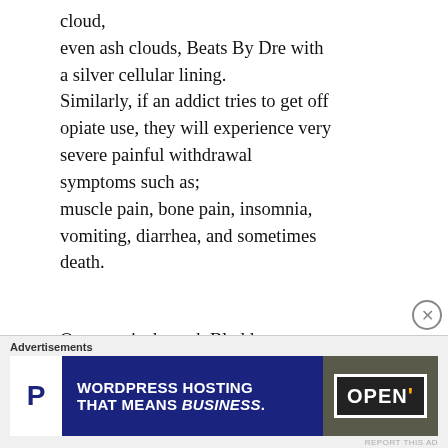cloud, even ash clouds, Beats By Dre with a silver cellular lining. Similarly, if an addict tries to get off opiate use, they will experience very severe painful withdrawal symptoms such as; muscle pain, bone pain, insomnia, vomiting, diarrhea, and sometimes death.
One way is through Bladder retraining and Kegel exercise. Mitch Earleywine, Ph – D,
Advertisements